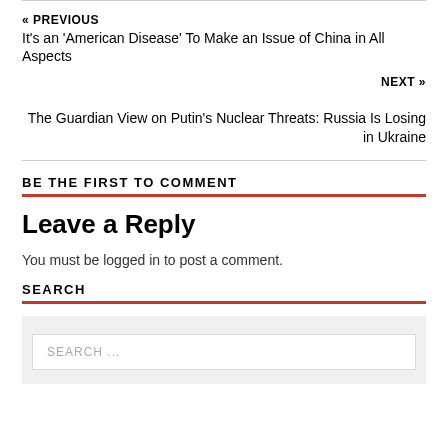« PREVIOUS
It's an 'American Disease' To Make an Issue of China in All Aspects
NEXT »
The Guardian View on Putin's Nuclear Threats: Russia Is Losing in Ukraine
BE THE FIRST TO COMMENT
Leave a Reply
You must be logged in to post a comment.
SEARCH
SEARCH ...